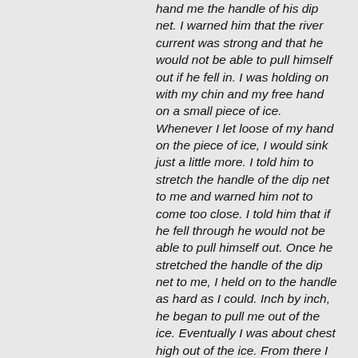hand me the handle of his dip net. I warned him that the river current was strong and that he would not be able to pull himself out if he fell in. I was holding on with my chin and my free hand on a small piece of ice. Whenever I let loose of my hand on the piece of ice, I would sink just a little more. I told him to stretch the handle of the dip net to me and warned him not to come too close. I told him that if he fell through he would not be able to pull himself out. Once he stretched the handle of the dip net to me, I held on to the handle as hard as I could. Inch by inch, he began to pull me out of the ice. Eventually I was about chest high out of the ice. From there I